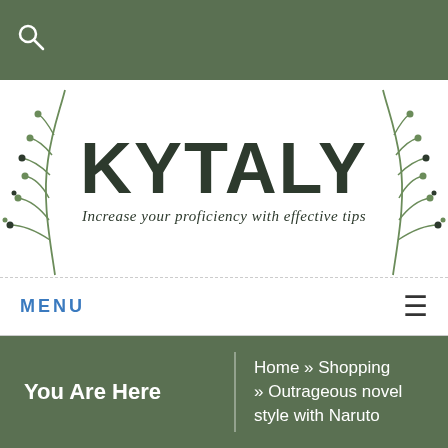[Figure (logo): KYTALY logo with decorative botanical branches on left and right. Text reads KYTALY in large bold dark letters with tagline 'Increase your proficiency with effective tips' in italic script below.]
MENU ≡
You Are Here   Home » Shopping » Outrageous novel style with Naruto